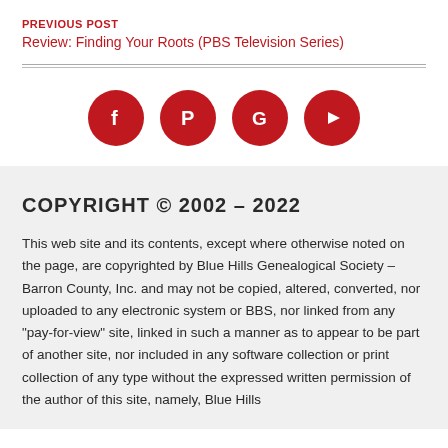PREVIOUS POST
Review: Finding Your Roots (PBS Television Series)
[Figure (infographic): Four red circular social media icons: Facebook, Pinterest, Google, YouTube]
COPYRIGHT © 2002 – 2022
This web site and its contents, except where otherwise noted on the page, are copyrighted by Blue Hills Genealogical Society – Barron County, Inc. and may not be copied, altered, converted, nor uploaded to any electronic system or BBS, nor linked from any "pay-for-view" site, linked in such a manner as to appear to be part of another site, nor included in any software collection or print collection of any type without the expressed written permission of the author of this site, namely, Blue Hills